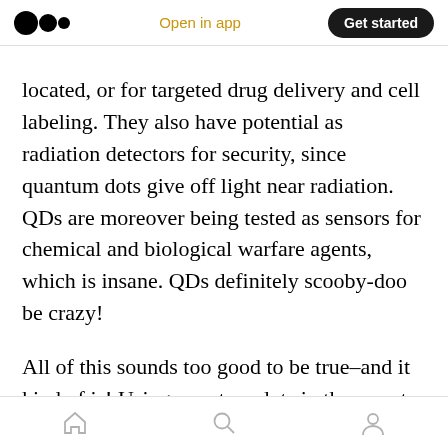Open in app | Get started
located, or for targeted drug delivery and cell labeling. They also have potential as radiation detectors for security, since quantum dots give off light near radiation. QDs are moreover being tested as sensors for chemical and biological warfare agents, which is insane. QDs definitely scooby-doo be crazy!
All of this sounds too good to be true–and it kind of is! Using quantum dots in these sorts of medical situations raises some safety issues. To be viable, Quantum dots need to be nontoxic and
Home | Search | Profile